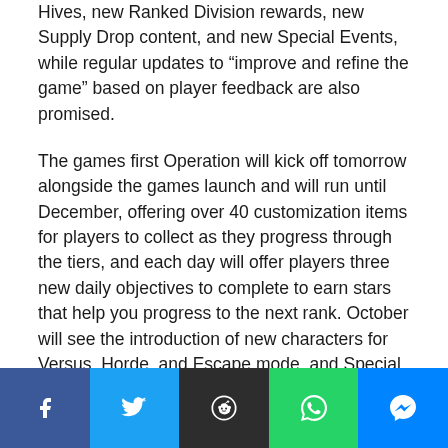Hives, new Ranked Division rewards, new Supply Drop content, and new Special Events, while regular updates to “improve and refine the game” based on player feedback are also promised.
The games first Operation will kick off tomorrow alongside the games launch and will run until December, offering over 40 customization items for players to collect as they progress through the tiers, and each day will offer players three new daily objectives to complete to earn stars that help you progress to the next rank. October will see the introduction of new characters for Versus, Horde, and Escape mode, and Special Events will also be introduced that same month, including a Halloween event that The Coalition are keeping tight-lipped about for now.
[Figure (other): Social share bar with five buttons: Facebook (blue), Twitter (light blue), Reddit (dark grey), WhatsApp (green), Messenger (blue)]